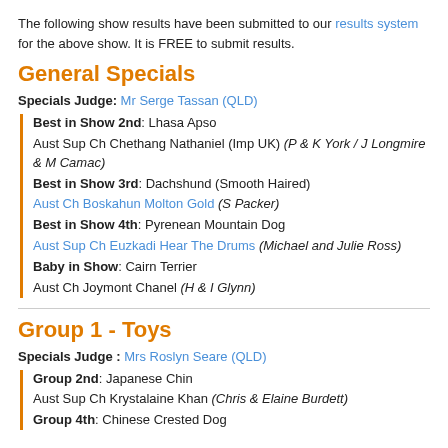The following show results have been submitted to our results system for the above show. It is FREE to submit results.
General Specials
Specials Judge: Mr Serge Tassan (QLD)
Best in Show 2nd: Lhasa Apso
Aust Sup Ch Chethang Nathaniel (Imp UK) (P & K York / J Longmire & M Camac)
Best in Show 3rd: Dachshund (Smooth Haired)
Aust Ch Boskahun Molton Gold (S Packer)
Best in Show 4th: Pyrenean Mountain Dog
Aust Sup Ch Euzkadi Hear The Drums (Michael and Julie Ross)
Baby in Show: Cairn Terrier
Aust Ch Joymont Chanel (H & I Glynn)
Group 1 - Toys
Specials Judge : Mrs Roslyn Seare (QLD)
Group 2nd: Japanese Chin
Aust Sup Ch Krystalaine Khan (Chris & Elaine Burdett)
Group 4th: Chinese Crested Dog